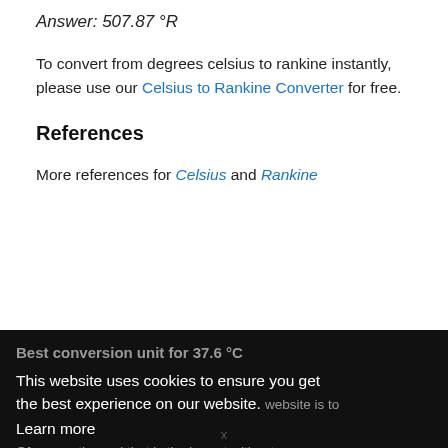Answer: 507.87 °R
To convert from degrees celsius to rankine instantly, please use our Celsius to Rankine Converter for free.
References
More references for Celsius and Rankine
Best conversion unit for 37.6 °C
This website uses cookies to ensure you get the best experience on our website.
Learn more
...website is to Of ...as the and that is the lowest without ...vert to
x